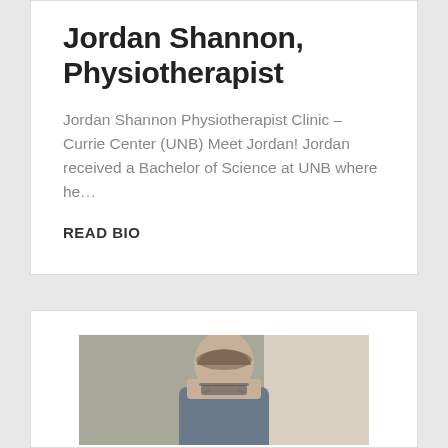Jordan Shannon, Physiotherapist
Jordan Shannon Physiotherapist Clinic – Currie Center (UNB) Meet Jordan! Jordan received a Bachelor of Science at UNB where he…
READ BIO
[Figure (photo): Portrait photo of a man with glasses and brown hair against a grey and white background]